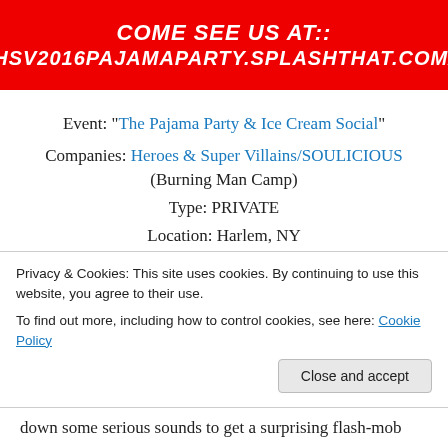[Figure (other): Red banner with white bold italic text: 'COME SEE US AT::' and 'HSV2016PAJAMAPARTY.SPLASHTHAT.COM/']
Event: “The Pajama Party & Ice Cream Social”
Companies: Heroes & Super Villains/SOULICIOUS (Burning Man Camp)
Type: PRIVATE
Location: Harlem, NY
Brief Description: This was a Burning Man party alright –
Privacy & Cookies: This site uses cookies. By continuing to use this website, you agree to their use.
To find out more, including how to control cookies, see here: Cookie Policy
down some serious sounds to get a surprising flash-mob